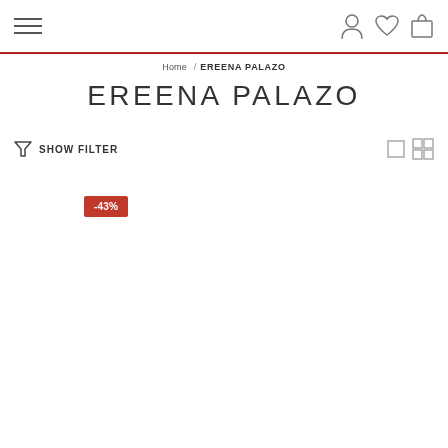≡  [user icon] [heart icon] [bag icon]
Home / EREENA PALAZO
EREENA PALAZO
SHOW FILTER
-43%